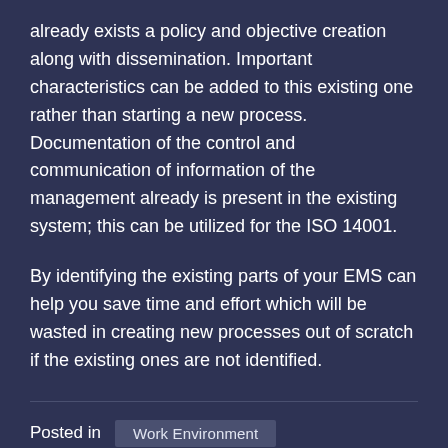already exists a policy and objective creation along with dissemination. Important characteristics can be added to this existing one rather than starting a new process. Documentation of the control and communication of information of the management already is present in the existing system; this can be utilized for the ISO 14001.
By identifying the existing parts of your EMS can help you save time and effort which will be wasted in creating new processes out of scratch if the existing ones are not identified.
Posted in  Work Environment